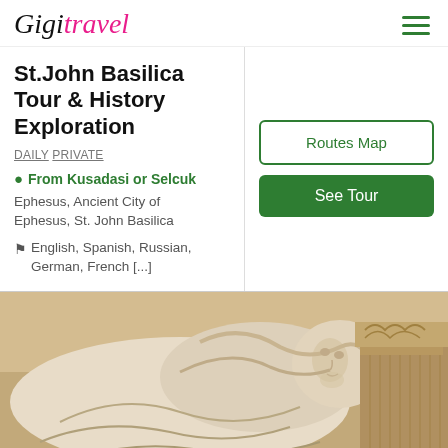GigiTravel
St.John Basilica Tour & History Exploration
DAILY PRIVATE
From Kusadasi or Selcuk
Ephesus, Ancient City of Ephesus, St. John Basilica
English, Spanish, Russian, German, French [...]
[Figure (photo): Close-up photograph of a white marble sculpture/reclining figure with decorative architectural stonework in the background, likely from Ephesus or St. John Basilica.]